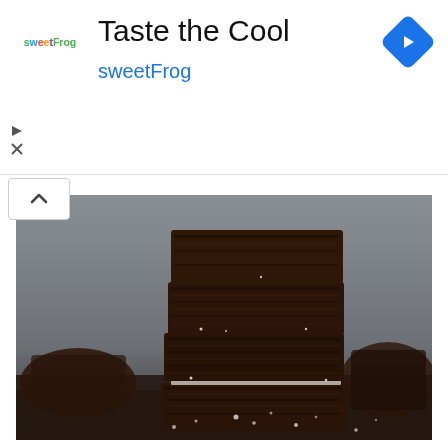[Figure (logo): sweetFrog logo with colorful text]
Taste the Cool
sweetFrog
[Figure (photo): Stack of chocolate brownies dusted with powdered sugar on a dark surface, with additional brownies in background. Close-up food photography with grey background.]